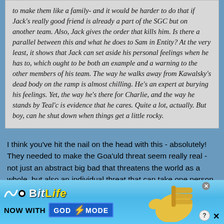to make them like a family- and it would be harder to do that if Jack's really good friend is already a part of the SGC but on another team. Also, Jack gives the order that kills him. Is there a parallel between this and what he does to Sam in Entity? At the very least, it shows that Jack can set aside his personal feelings when he has to, which ought to be both an example and a warning to the other members of his team. The way he walks away from Kawalsky's dead body on the ramp is almost chilling. He's an expert at burying his feelings. Yet, the way he's there for Charlie, and the way he stands by Teal'c is evidence that he cares. Quite a lot, actually. But boy, can he shut down when things get a little rocky.
I think you've hit the nail on the head with this - absolutely! They needed to make the Goa'uld threat seem really real - not just an abstract big bad that threatens the world as a whole, but also an individual threat that can take one person away. And sure they had
[Figure (other): BitLife advertisement banner: 'BitLife - NOW WITH GOD MODE' with lightning bolt graphic, pointing hand illustration, close button, and question mark button. Light blue gradient background.]